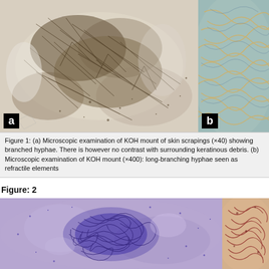[Figure (photo): Microscopic image (a): KOH mount of skin scrapings ×40 showing branched hyphae with no contrast with surrounding keratinous debris. Grayscale/brown toned microscopy image.]
[Figure (photo): Microscopic image (b): KOH mount ×400 showing long-branching hyphae seen as refractile elements. Blue-green toned microscopy image.]
Figure 1: (a) Microscopic examination of KOH mount of skin scrapings (×40) showing branched hyphae. There is however no contrast with surrounding keratinous debris. (b) Microscopic examination of KOH mount (×400): long-branching hyphae seen as refractile elements
Figure: 2
[Figure (photo): Figure 2 left panel: Microscopy image with purple/blue background showing dense tangled hyphae mass in center.]
[Figure (photo): Figure 2 right panel: Microscopy image with reddish/orange tones showing hyphae structures.]